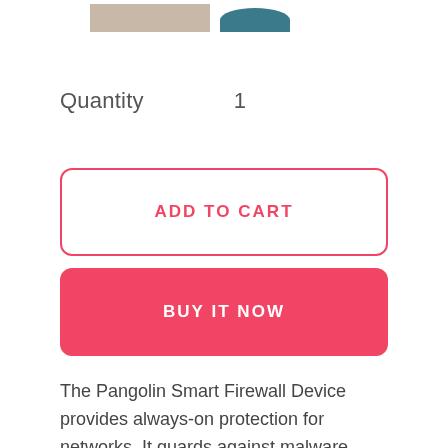[Figure (photo): Partial product images visible at top of page — a dark device on left and a teal/blue rounded object on right]
Quantity    1
ADD TO CART
BUY IT NOW
The Pangolin Smart Firewall Device provides always-on protection for networks. It guards against malware, phishing, and other methods of attack from cybercriminals. Secures only single broadcast domains (multi-NAT not